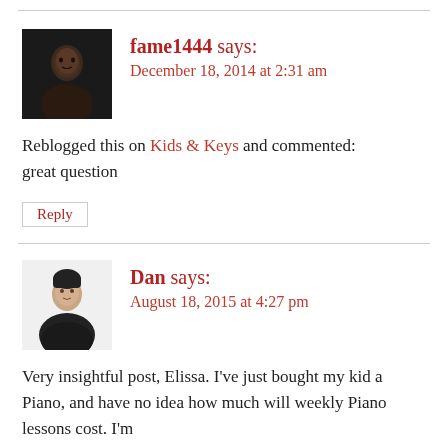[Figure (photo): Avatar photo of fame1444, a person with dark complexion against a dark background]
fame1444 says:
December 18, 2014 at 2:31 am
Reblogged this on Kids & Keys and commented:
great question
Reply
[Figure (photo): Avatar photo of Dan, a person in a dark t-shirt against a white background]
Dan says:
August 18, 2015 at 4:27 pm
Very insightful post, Elissa. I've just bought my kid a Piano, and have no idea how much will weekly Piano lessons cost. I'm